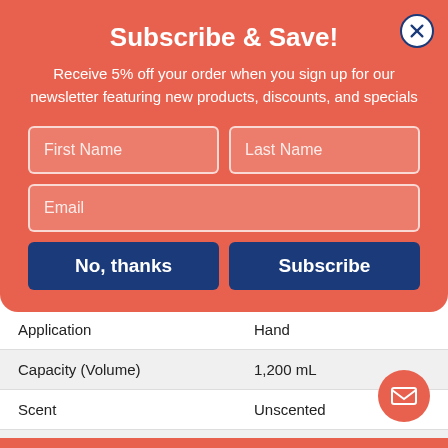Subscribe & Save!
Receive 5% off your order when you sign up for our newsletter featuring new products, discounts, and specials
| Attribute | Value |
| --- | --- |
| Application | Hand |
| Capacity (Volume) | 1,200 mL |
| Scent | Unscented |
| For Use With | 53057; 53058; 53060 |
| Dirt Types | Bacteria; Dirt |
| Packing Type | Bottle |
| Color(s) | Clear |